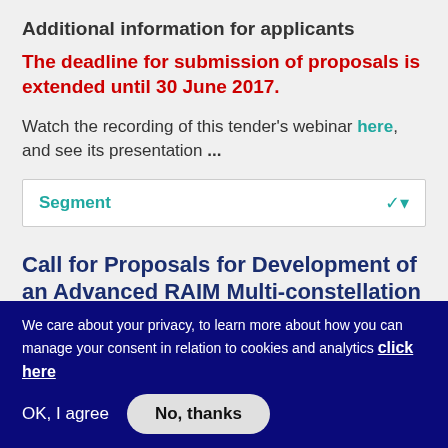Additional information for applicants
The deadline for submission of proposals is extended until 30 June 2017.
Watch the recording of this tender's webinar here, and see its presentation ...
Segment
Call for Proposals for Development of an Advanced RAIM Multi-constellation Receiver (ARAIM)
We care about your privacy, to learn more about how you can manage your consent in relation to cookies and analytics click here
OK, I agree
No, thanks